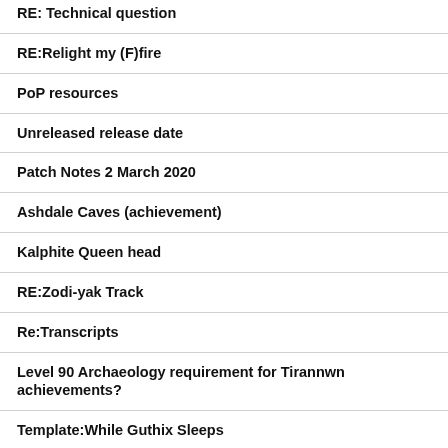RE: Technical question
RE:Relight my (F)fire
PoP resources
Unreleased release date
Patch Notes 2 March 2020
Ashdale Caves (achievement)
Kalphite Queen head
RE:Zodi-yak Track
Re:Transcripts
Level 90 Archaeology requirement for Tirannwn achievements?
Template:While Guthix Sleeps